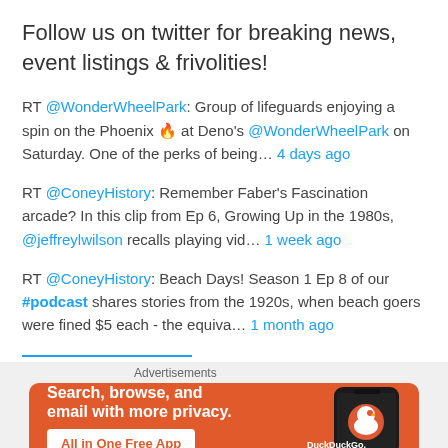Follow us on twitter for breaking news, event listings & frivolities!
RT @WonderWheelPark: Group of lifeguards enjoying a spin on the Phoenix 🔥 at Deno's @WonderWheelPark on Saturday. One of the perks of being… 4 days ago
RT @ConeyHistory: Remember Faber's Fascination arcade? In this clip from Ep 6, Growing Up in the 1980s, @jeffreylwilson recalls playing vid… 1 week ago
RT @ConeyHistory: Beach Days! Season 1 Ep 8 of our #podcast shares stories from the 1920s, when beach goers were fined $5 each - the equiva… 1 month ago
[Figure (infographic): DuckDuckGo advertisement banner: orange background with text 'Search, browse, and email with more privacy. All in One Free App' and a DuckDuckGo logo on a phone graphic.]